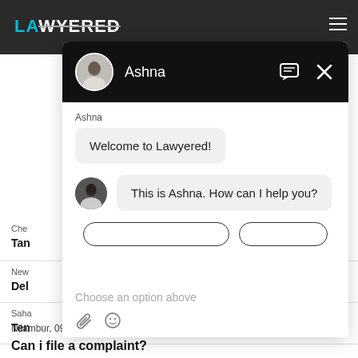[Figure (screenshot): Lawyered website screenshot with a chat overlay. The top bar shows the Lawyered logo in teal/white. Behind the overlay are partially visible article entries. The chat overlay shows an agent named Ashna with messages: 'Welcome to Lawyered!' and 'This is Ashna. How can I help you?' with an input area showing 'Choose an option above'.]
Che
Tan
New
Del
Saha
Ten
Nilambur,  09 Jun, 2021,  (1 year, 2 months ago)
Can i file a complaint?